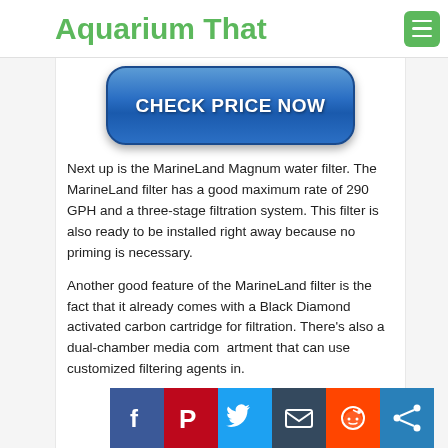Aquarium That
[Figure (other): Blue rounded button with text CHECK PRICE NOW]
Next up is the MarineLand Magnum water filter. The MarineLand filter has a good maximum rate of 290 GPH and a three-stage filtration system. This filter is also ready to be installed right away because no priming is necessary.
Another good feature of the MarineLand filter is the fact that it already comes with a Black Diamond activated carbon cartridge for filtration. There's also a dual-chamber media compartment that can use customized filtering agents in.
[Figure (other): Social sharing bar with Facebook, Pinterest, Twitter, Email, Reddit, and Share icons]